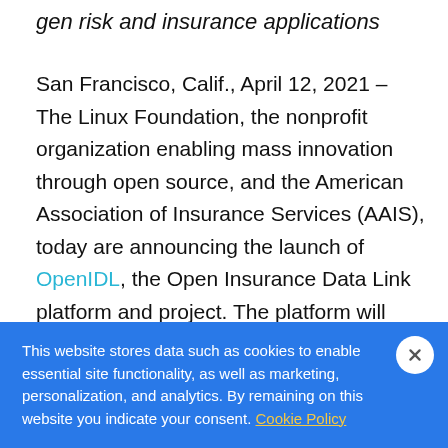gen risk and insurance applications
San Francisco, Calif., April 12, 2021 – The Linux Foundation, the nonprofit organization enabling mass innovation through open source, and the American Association of Insurance Services (AAIS), today are announcing the launch of OpenIDL, the Open Insurance Data Link platform and project. The platform will reduce the cost of
This website stores data such as cookies to enable essential site functionality, as well as marketing, personalization, and analytics. By remaining on this website you indicate your consent. Cookie Policy